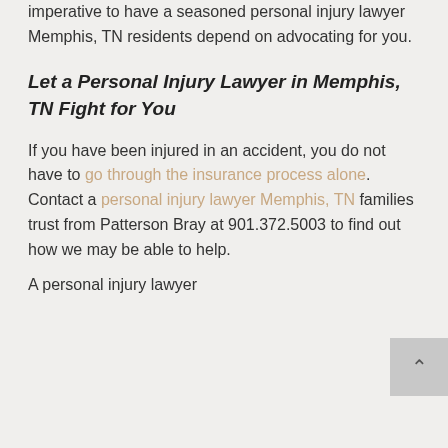imperative to have a seasoned personal injury lawyer Memphis, TN residents depend on advocating for you.
Let a Personal Injury Lawyer in Memphis, TN Fight for You
If you have been injured in an accident, you do not have to go through the insurance process alone. Contact a personal injury lawyer Memphis, TN families trust from Patterson Bray at 901.372.5003 to find out how we may be able to help.
A personal injury lawyer